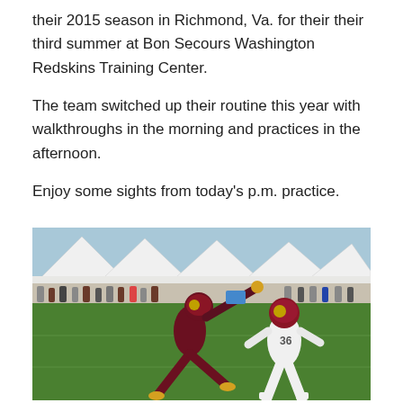their 2015 season in Richmond, Va. for their their third summer at Bon Secours Washington Redskins Training Center.
The team switched up their routine this year with walkthroughs in the morning and practices in the afternoon.
Enjoy some sights from today’s p.m. practice.
[Figure (photo): Washington Redskins players in maroon and white uniforms during a training camp practice drill, with white tents and spectators in the background at Bon Secours Washington Redskins Training Center in Richmond, Va.]